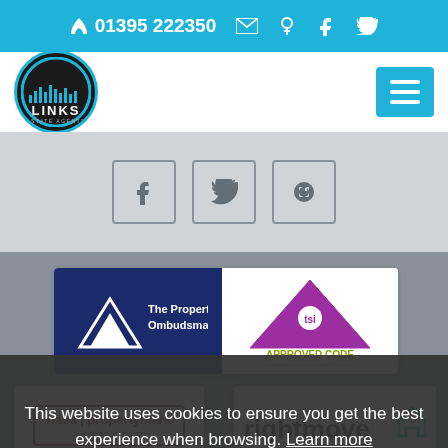01395 222350
[Figure (logo): Links Estate Agents logo — circular dark badge with blue border, city skyline silhouette, white LINKS text]
[Figure (screenshot): Hamburger menu button (cyan square with three white lines)]
[Figure (screenshot): Social media icon buttons: Facebook, Twitter, RSS feed]
[Figure (logo): The Property Ombudsman logo — dark blue rectangle with white triangle and text]
[Figure (logo): TSI Approved Code logo — purple triangle with tsi badge]
[Figure (logo): naea | propertymark PROTECTED logo]
[Figure (logo): Rightmove logo with house icon]
This website uses cookies to ensure you get the best experience when browsing. Learn more
Got it!